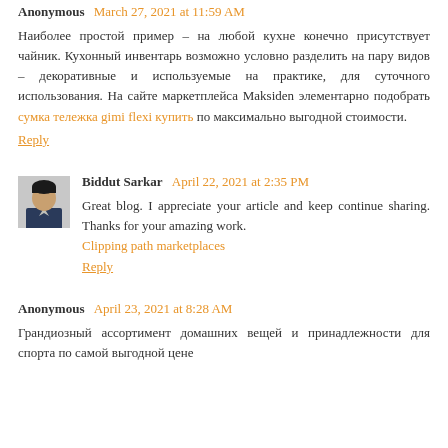Anonymous March 27, 2021 at 11:59 AM
Наиболее простой пример – на любой кухне конечно присутствует чайник. Кухонный инвентарь возможно условно разделить на пару видов – декоративные и используемые на практике, для суточного использования. На сайте маркетплейса Maksiden элементарно подобрать сумка тележка gimi flexi купить по максимально выгодной стоимости.
Reply
Biddut Sarkar April 22, 2021 at 2:35 PM
Great blog. I appreciate your article and keep continue sharing. Thanks for your amazing work.
Clipping path marketplaces
Reply
Anonymous April 23, 2021 at 8:28 AM
Грандиозный ассортимент домашних вещей и принадлежности для спорта по самой выгодной цене